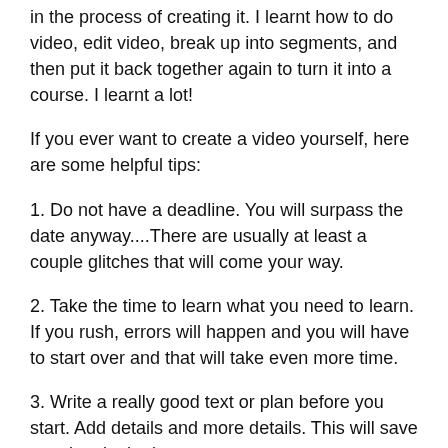in the process of creating it. I learnt how to do video, edit video, break up into segments, and then put it back together again to turn it into a course. I learnt a lot!
If you ever want to create a video yourself, here are some helpful tips:
1. Do not have a deadline.  You will surpass the date anyway....There are usually at least a couple glitches that will come your way.
2. Take the time to learn what you need to learn.  If you rush, errors will happen and you will have to start over and that will take even more time.
3. Write a really good text or plan before you start.  Add details and more details.  This will save you time in the long run.